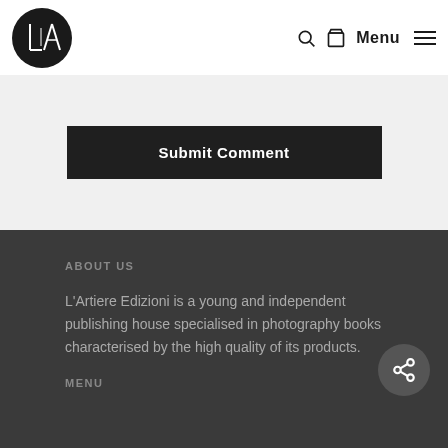[Figure (logo): L'A logo in white on black circle, with stylized letter L and A]
Menu ☰
Submit Comment
ABOUT US
L'Artiere Edizioni is a young and independent publishing house specialised in photography books characterised by the high quality of its products.
MENU